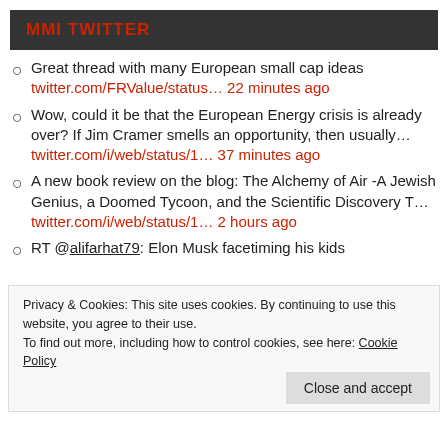MMI TWITTER
Great thread with many European small cap ideas twitter.com/FRValue/status… 22 minutes ago
Wow, could it be that the European Energy crisis is already over? If Jim Cramer smells an opportunity, then usually… twitter.com/i/web/status/1… 37 minutes ago
A new book review on the blog: The Alchemy of Air -A Jewish Genius, a Doomed Tycoon, and the Scientific Discovery T… twitter.com/i/web/status/1… 2 hours ago
RT @alifarhat79: Elon Musk facetiming his kids
Privacy & Cookies: This site uses cookies. By continuing to use this website, you agree to their use.
To find out more, including how to control cookies, see here: Cookie Policy
Close and accept